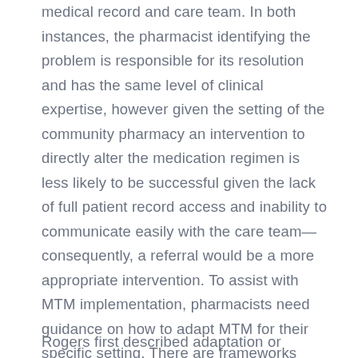medical record and care team. In both instances, the pharmacist identifying the problem is responsible for its resolution and has the same level of clinical expertise, however given the setting of the community pharmacy an intervention to directly alter the medication regimen is less likely to be successful given the lack of full patient record access and inability to communicate easily with the care team—consequently, a referral would be a more appropriate intervention. To assist with MTM implementation, pharmacists need guidance on how to adapt MTM for their specific setting. There are frameworks available for adapting interventions; however, there are currently no frameworks available for pharmacy settings [22,23,24,25,26,27].
Rogers first described adaptation or reinvention as the